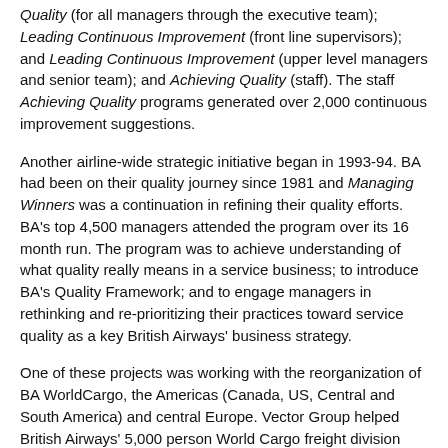Quality (for all managers through the executive team); Leading Continuous Improvement (front line supervisors); and Leading Continuous Improvement (upper level managers and senior team); and Achieving Quality (staff). The staff Achieving Quality programs generated over 2,000 continuous improvement suggestions.
Another airline-wide strategic initiative began in 1993-94. BA had been on their quality journey since 1981 and Managing Winners was a continuation in refining their quality efforts. BA's top 4,500 managers attended the program over its 16 month run. The program was to achieve understanding of what quality really means in a service business; to introduce BA's Quality Framework; and to engage managers in rethinking and re-prioritizing their practices toward service quality as a key British Airways' business strategy.
One of these projects was working with the reorganization of BA WorldCargo, the Americas (Canada, US, Central and South America) and central Europe. Vector Group helped British Airways' 5,000 person World Cargo freight division reverse a 10 year record of increasing costs and diminishing profits. It was languishing in spiraling costs and failing in its